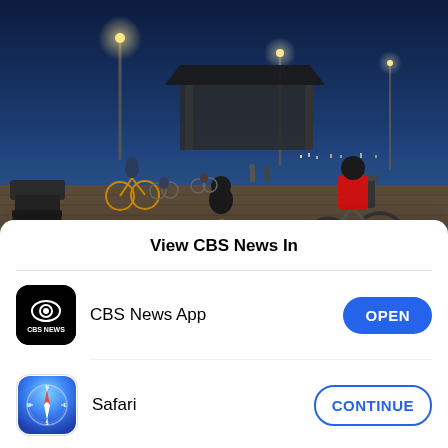[Figure (photo): Nighttime photo of people riding bicycles on a boardwalk, with blue dusk sky and street lights visible. Coney Island boardwalk scene.]
1 dead, 4 wounded in Coney Island boardwalk shooting, NYPD says
27M AGO
View CBS News In
CBS News App
Safari